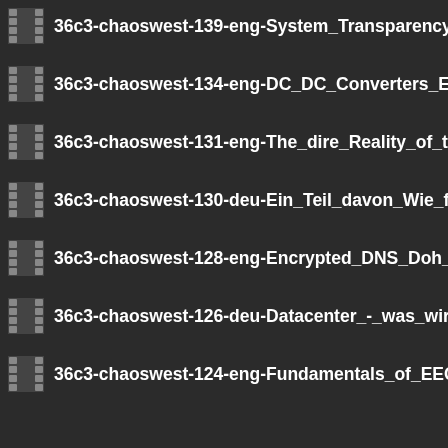36c3-chaoswest-139-eng-System_Transparency_hd.m
36c3-chaoswest-134-eng-DC_DC_Converters_Everythi
36c3-chaoswest-131-eng-The_dire_Reality_of_the_Clir
36c3-chaoswest-130-deu-Ein_Teil_davon_Wie_femini
36c3-chaoswest-128-eng-Encrypted_DNS_Doh_-_The_
36c3-chaoswest-126-deu-Datacenter_-_was_wir_wisse
36c3-chaoswest-124-eng-Fundamentals_of_EEG_base